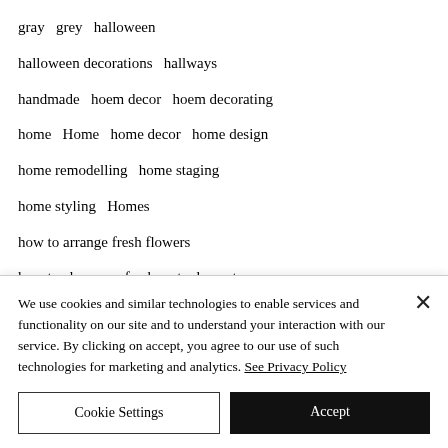gray   grey   halloween
halloween decorations   hallways
handmade   hoem decor   hoem decorating
home   Home   home decor   home design
home remodelling   home staging
home styling   Homes
how to arrange fresh flowers
how to chose a sofa   how to decorate
. . .
We use cookies and similar technologies to enable services and functionality on our site and to understand your interaction with our service. By clicking on accept, you agree to our use of such technologies for marketing and analytics. See Privacy Policy